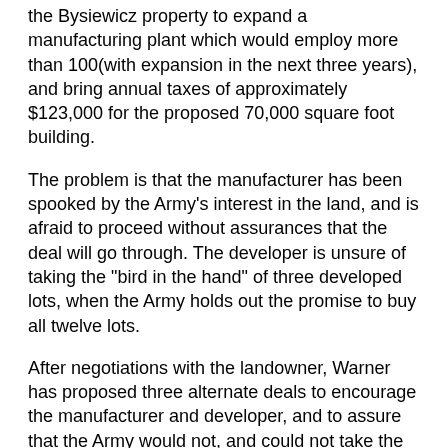the Bysiewicz property to expand a manufacturing plant which would employ more than 100(with expansion in the next three years), and bring annual taxes of approximately $123,000 for the proposed 70,000 square foot building.
The problem is that the manufacturer has been spooked by the Army's interest in the land, and is afraid to proceed without assurances that the deal will go through. The developer is unsure of taking the "bird in the hand" of three developed lots, when the Army holds out the promise to buy all twelve lots.
After negotiations with the landowner, Warner has proposed three alternate deals to encourage the manufacturer and developer, and to assure that the Army would not, and could not take the property for it's Army Reserve Training Center. Under the terms of the primary deal, Bysiewicz would inform the Army that he was no longer interested in selling the property (thereby ending the Army deal for the property). In return, if the Army purchases Cucia park, the city would provide tax abatements for all the Bysiewicz property, with the added incentive that the city would buy an additional